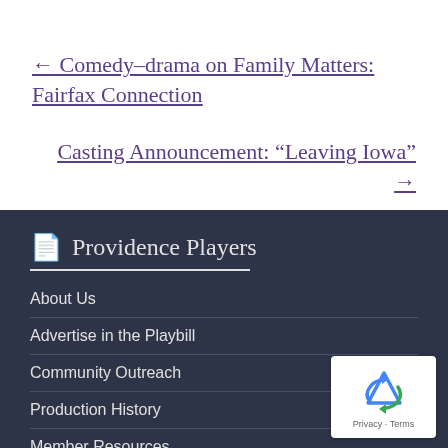← Comedy-drama on Family Matters: Fairfax Connection
Casting Announcement: “Leaving Iowa” →
Providence Players
About Us
Advertise in the Playbill
Community Outreach
Production History
Member Resources